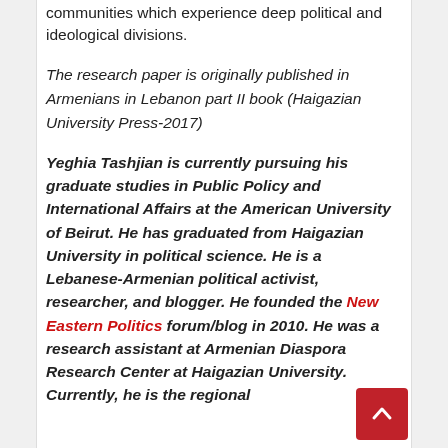communities which experience deep political and ideological divisions.
The research paper is originally published in Armenians in Lebanon part II book (Haigazian University Press-2017)
Yeghia Tashjian is currently pursuing his graduate studies in Public Policy and International Affairs at the American University of Beirut. He has graduated from Haigazian University in political science. He is a Lebanese-Armenian political activist, researcher, and blogger. He founded the New Eastern Politics forum/blog in 2010. He was a research assistant at Armenian Diaspora Research Center at Haigazian University. Currently, he is the regional